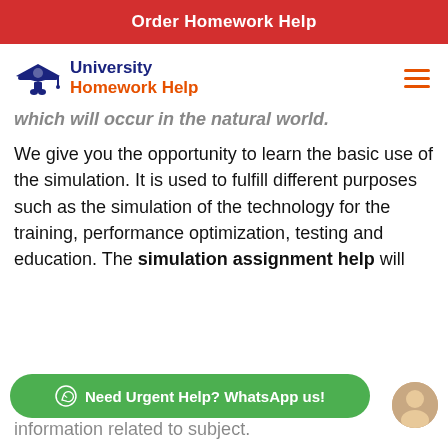Order Homework Help
[Figure (logo): University Homework Help logo with graduation cap icon, navy and orange text]
which will occur in the natural world.
We give you the opportunity to learn the basic use of the simulation. It is used to fulfill different purposes such as the simulation of the technology for the training, performance optimization, testing and education. The simulation assignment help will
ary information related to subject.
Need Urgent Help? WhatsApp us!